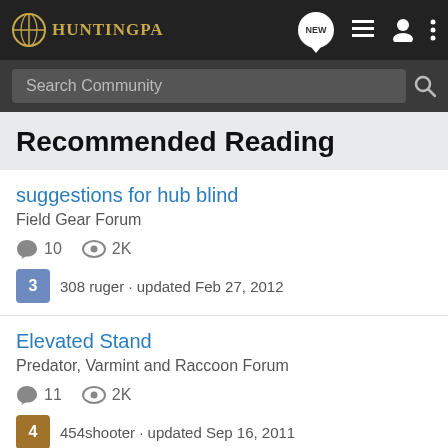HuntingPA
Search Community
Recommended Reading
suggestions for hub blind
Field Gear Forum
10 comments · 2K views
308 ruger · updated Feb 27, 2012
Elevated Stand
Predator, Varmint and Raccoon Forum
11 comments · 2K views
454shooter · updated Sep 16, 2011